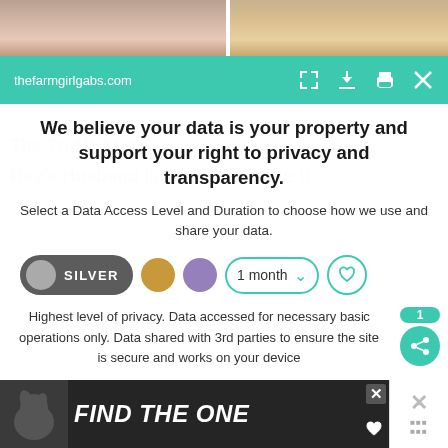[Figure (photo): Two cropped face photos side by side at top of page]
thefarmgirlgabs.com
We believe your data is your property and support your right to privacy and transparency.
Select a Data Access Level and Duration to choose how we use and share your data.
[Figure (infographic): Privacy level selector with SILVER toggle, gold dot, purple dot, 1 month dropdown, and heart button]
Highest level of privacy. Data accessed for necessary basic operations only. Data shared with 3rd parties to ensure the site is secure and works on your device
[Figure (screenshot): What's Next panel showing Five Healthy & FUN After... with food image]
Save my preferences
[Figure (photo): Ad banner: FIND THE ONE with dog image]